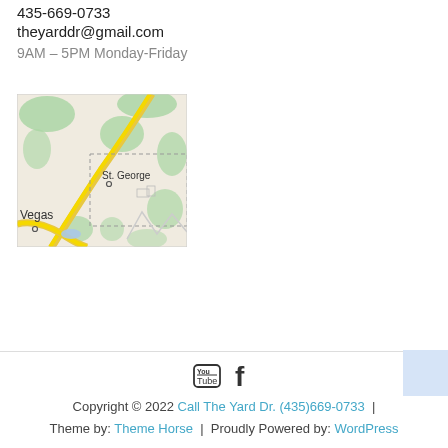435-669-0733
theyarddr@gmail.com
9AM – 5PM Monday-Friday
[Figure (map): Map showing St. George area with Las Vegas visible at bottom left. Green terrain areas and a yellow road running diagonally. Dashed border rectangle visible around St. George area.]
Copyright © 2022 Call The Yard Dr. (435)669-0733 | Theme by: Theme Horse | Proudly Powered by: WordPress